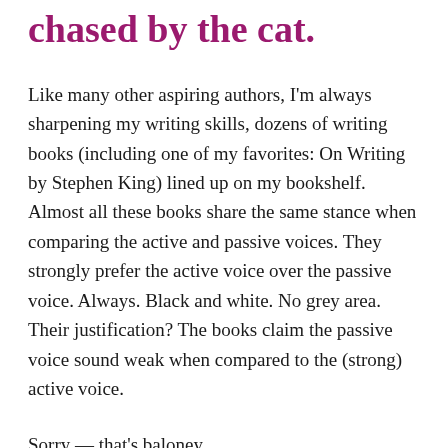chased by the cat.
Like many other aspiring authors, I'm always sharpening my writing skills, dozens of writing books (including one of my favorites: On Writing by Stephen King) lined up on my bookshelf. Almost all these books share the same stance when comparing the active and passive voices. They strongly prefer the active voice over the passive voice. Always. Black and white. No grey area. Their justification? The books claim the passive voice sound weak when compared to the (strong) active voice.
Sorry — that's baloney.